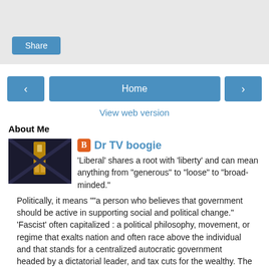[Figure (screenshot): Gray share area with a blue Share button at the bottom left]
[Figure (screenshot): Navigation buttons: left arrow, Home, right arrow]
View web version
About Me
[Figure (photo): Dark sci-fi corridor photo used as blogger avatar]
Dr TV boogie
'Liberal' shares a root with 'liberty' and can mean anything from "generous" to "loose" to "broad-minded." Politically, it means ""a person who believes that government should be active in supporting social and political change." 'Fascist' often capitalized : a political philosophy, movement, or regime that exalts nation and often race above the individual and that stands for a centralized autocratic government headed by a dictatorial leader, and tax cuts for the wealthy. The Choice Is Yours.